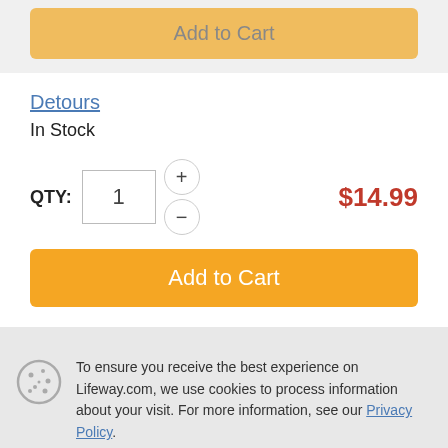[Figure (screenshot): Add to Cart button (grayed out, top section)]
Detours
In Stock
QTY: 1  $14.99
[Figure (screenshot): Add to Cart button (orange)]
To ensure you receive the best experience on Lifeway.com, we use cookies to process information about your visit. For more information, see our Privacy Policy.
[Figure (screenshot): Okay button (blue)]